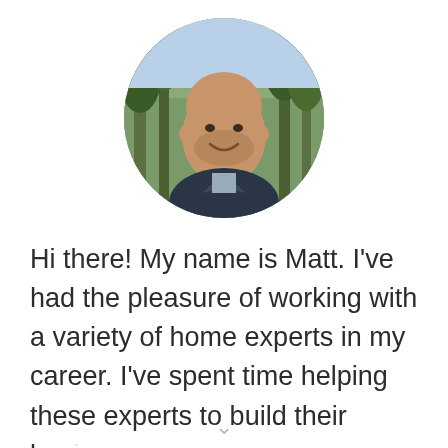[Figure (photo): Circular profile photo of a middle-aged bald man with a beard, wearing a dark jacket over a grey shirt, smiling, with a forest background of pine trees.]
Hi there! My name is Matt. I've had the pleasure of working with a variety of home experts in my career. I've spent time helping these experts to build their businesses, while…